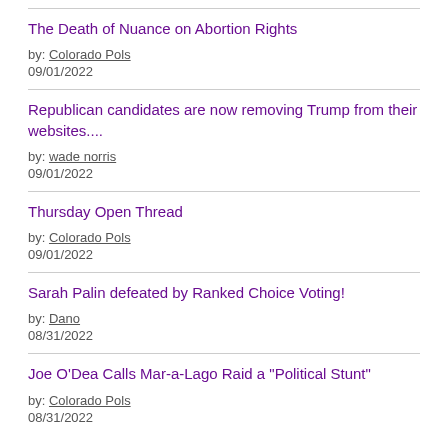The Death of Nuance on Abortion Rights
by: Colorado Pols
09/01/2022
Republican candidates are now removing Trump from their websites....
by: wade norris
09/01/2022
Thursday Open Thread
by: Colorado Pols
09/01/2022
Sarah Palin defeated by Ranked Choice Voting!
by: Dano
08/31/2022
Joe O'Dea Calls Mar-a-Lago Raid a "Political Stunt"
by: Colorado Pols
08/31/2022